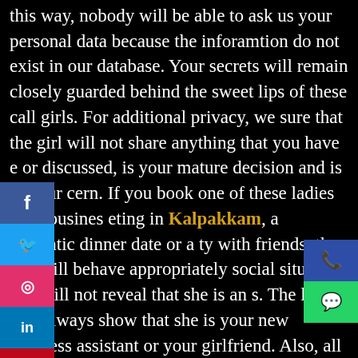this way, nobody will be able to ask us your personal data because the inforamtion do not exist in our database. Your secrets will remain closely guarded behind the sweet lips of these call girls. For additional privacy, we sure that the girl will not share anything that you have e or discussed, is your mature decision and is not our cern. If you book one of these ladies for a business eting in Kalpakkam, a romantic dinner date or a ty with friends, the girl will behave appropriately social situation and will not reveal that she is an s. The lady will always show that she is your new business assistant or your girlfriend. Also, all these female companions will arrive at your place in the strictest confidence, without atract public attention. All the girls were personally checked to ensure that they can